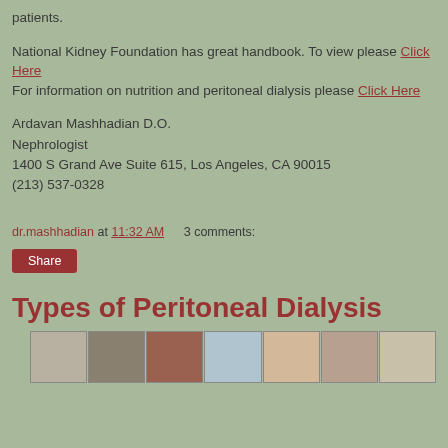patients.
National Kidney Foundation has great handbook. To view please Click Here
For information on nutrition and peritoneal dialysis please Click Here
Ardavan Mashhadian D.O.
Nephrologist
1400 S Grand Ave Suite 615, Los Angeles, CA 90015
(213) 537-0328
dr.mashhadian at 11:32 AM   3 comments:
Share
Types of Peritoneal Dialysis
[Figure (photo): A row of thumbnail images related to peritoneal dialysis showing various medical images and procedures]